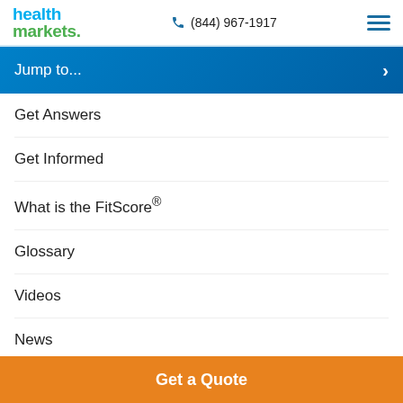health markets  (844) 967-1917
Jump to...
Get Answers
Get Informed
What is the FitScore®
Glossary
Videos
News
Get a Quote